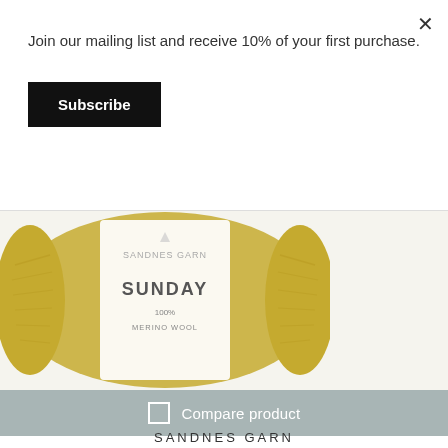Join our mailing list and receive 10% of your first purchase.
Subscribe
[Figure (photo): A skein of mustard/olive yellow Sandnes Garn Sunday yarn with a white product label showing the brand name and yarn details, on a light cream background.]
Compare product
SANDNES GARN